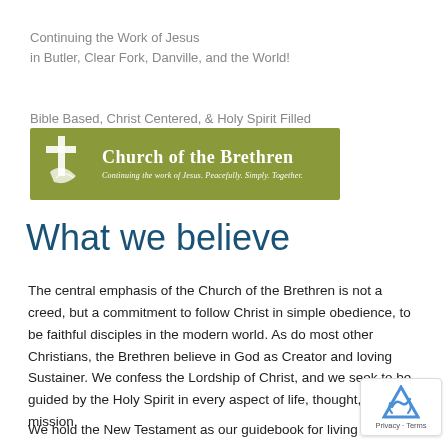Continuing the Work of Jesus
in Butler, Clear Fork, Danville, and the World!
Bible Based, Christ Centered, & Holy Spirit Filled
[Figure (logo): Church of the Brethren logo banner with olive green background, white cross and dove icon on left, text 'Church of the Brethren' in large white serif font, subtitle 'Continuing the work of Jesus. Peacefully. Simply. Together.' in smaller italic white text]
What we believe
The central emphasis of the Church of the Brethren is not a creed, but a commitment to follow Christ in simple obedience, to be faithful disciples in the modern world. As do most other Christians, the Brethren believe in God as Creator and loving Sustainer. We confess the Lordship of Christ, and we seek to be guided by the Holy Spirit in every aspect of life, thought, mission.
We hold the New Testament as our guidebook for living